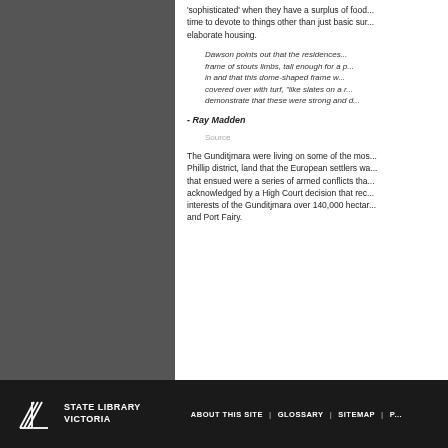'sophisticated' when they have a surplus of food...time to devote to things other than just basic sur... elaborate housing.
Dawson points out that the residences...frame of stouts limbs, tall enough for a p...in and that this dome-shaped frame w...covered over with turf, "like slates on a r...demonstrate that these were strong and d...
- Ray Madden
Source
The Gunditjmara were living on some of the mos...Phillip district, land that the European settlers wa...that ensued were a series of armed conflicts tha...acknowledged by a High Court decision that rec...interests of the Gunditjmara over 140,000 hectar...and Port Fairy.
STATE LIBRARY VICTORIA | ABOUT THIS SITE | GLOSSARY | SITEMAP | P...